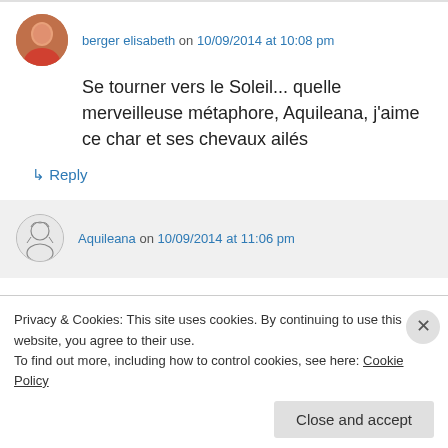berger elisabeth on 10/09/2014 at 10:08 pm
Se tourner vers le Soleil... quelle merveilleuse métaphore, Aquileana, j’aime ce char et ses chevaux ailés
↳ Reply
Aquileana on 10/09/2014 at 11:06 pm
Privacy & Cookies: This site uses cookies. By continuing to use this website, you agree to their use.
To find out more, including how to control cookies, see here: Cookie Policy
Close and accept